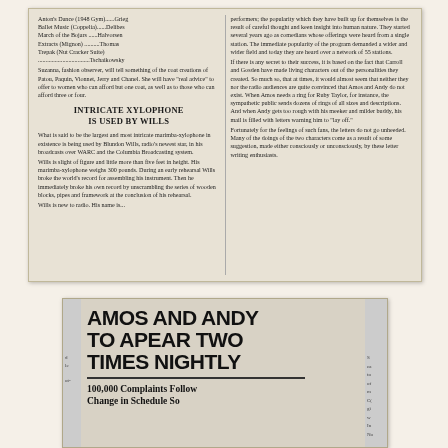[Figure (photo): Newspaper clipping with two columns of text. Left column contains a list of musical pieces and performers, followed by a section header 'INTRICATE XYLOPHONE IS USED BY WILLS' and an article about Blundon Wills, radio star. Right column contains text about Amos and Andy comedians and their popularity.]
[Figure (photo): Newspaper clipping with large bold headline 'AMOS AND ANDY TO APEAR TWO TIMES NIGHTLY' followed by subheading '100,000 Complaints Follow Change in Schedule So'. Side columns partially visible.]